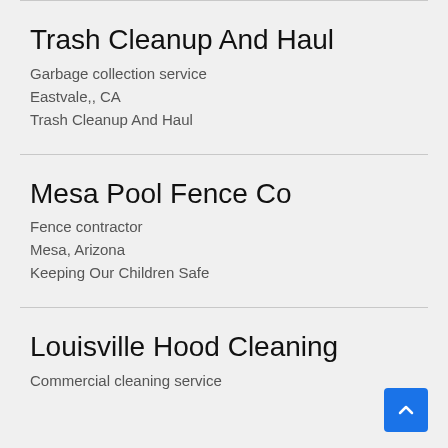Trash Cleanup And Haul
Garbage collection service
Eastvale,, CA
Trash Cleanup And Haul
Mesa Pool Fence Co
Fence contractor
Mesa, Arizona
Keeping Our Children Safe
Louisville Hood Cleaning
Commercial cleaning service